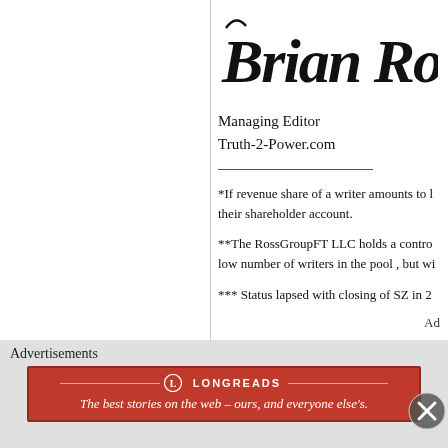[Figure (illustration): Handwritten signature reading 'Brian Ross' in cursive/stylized script]
Managing Editor
Truth-2-Power.com
*If revenue share of a writer amounts to l... their shareholder account.
**The RossGroupFT LLC holds a contro... low number of writers in the pool , but wi...
*** Status lapsed with closing of SZ in 2...
Advertisements
[Figure (infographic): Longreads advertisement banner: 'The best stories on the web — ours, and everyone else's.']